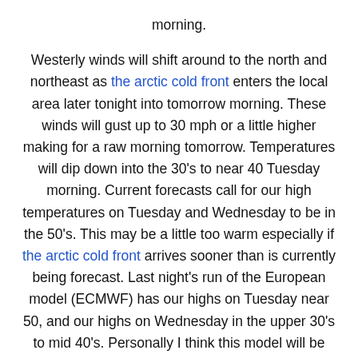morning. Westerly winds will shift around to the north and northeast as the arctic cold front enters the local area later tonight into tomorrow morning. These winds will gust up to 30 mph or a little higher making for a raw morning tomorrow. Temperatures will dip down into the 30's to near 40 Tuesday morning. Current forecasts call for our high temperatures on Tuesday and Wednesday to be in the 50's. This may be a little too warm especially if the arctic cold front arrives sooner than is currently being forecast. Last night's run of the European model (ECMWF) has our highs on Tuesday near 50, and our highs on Wednesday in the upper 30's to mid 40's. Personally I think this model will be closer to being correct.